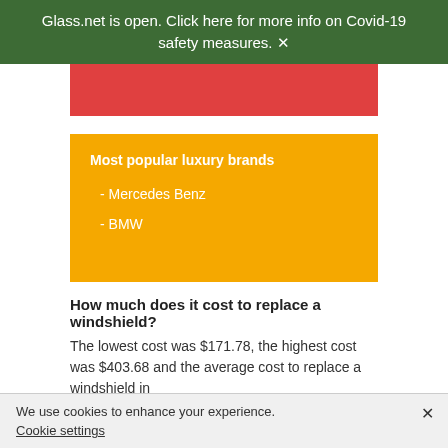Glass.net is open. Click here for more info on Covid-19 safety measures.
[Figure (other): Red decorative bar/banner element]
Most popular luxury brands
- Mercedes Benz
- BMW
How much does it cost to replace a windshield?
The lowest cost was $171.78, the highest cost was $403.68 and the average cost to replace a windshield in
We use cookies to enhance your experience. Cookie settings